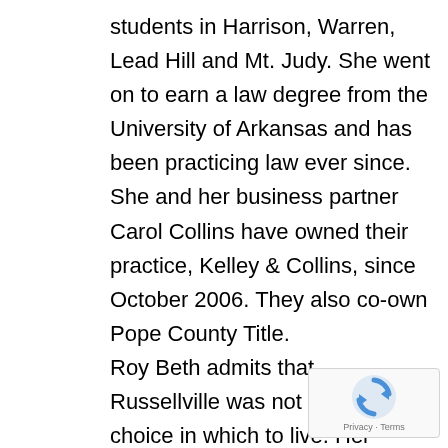students in Harrison, Warren, Lead Hill and Mt. Judy. She went on to earn a law degree from the University of Arkansas and has been practicing law ever since. She and her business partner Carol Collins have owned their practice, Kelley & Collins, since October 2006. They also co-own Pope County Title. Roy Beth admits that Russellville was not her first choice in which to live. Her husband's job transfer forced her to move to Russellville 10 years ago. Ed, current Dover football coach, and Roy Beth reluctantly made the move to Russellville with their sons, Jonathan and Ma Though a little uneasy about moving to an
[Figure (other): Google reCAPTCHA badge with spinning arrows icon and 'Privacy · Terms' text]